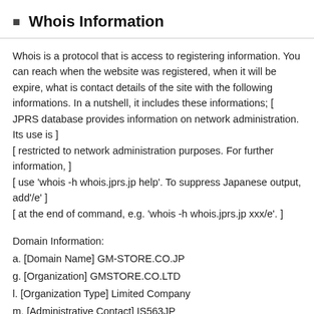Whois Information
Whois is a protocol that is access to registering information. You can reach when the website was registered, when it will be expire, what is contact details of the site with the following informations. In a nutshell, it includes these informations; [ JPRS database provides information on network administration. Its use is ] [ restricted to network administration purposes. For further information, ] [ use 'whois -h whois.jprs.jp help'. To suppress Japanese output, add'/e' ] [ at the end of command, e.g. 'whois -h whois.jprs.jp xxx/e'. ]
Domain Information:
a. [Domain Name] GM-STORE.CO.JP
g. [Organization] GMSTORE.CO.LTD
l. [Organization Type] Limited Company
m. [Administrative Contact] IS563JP
n. [Technical Contact] IS563JP
p. [Name Server] asns1.customer.ne.jp
p. [Name Server] asns2.customer.ne.jp